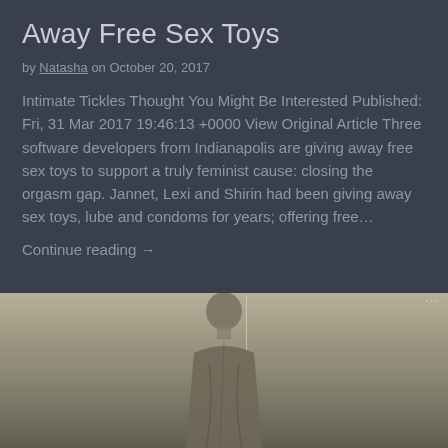Away Free Sex Toys
by Natasha on October 20, 2017
Intimate Tickles Thought You Might Be Interested Published: Fri, 31 Mar 2017 19:46:13 +0000 View Original Article Three software developers from Indianapolis are giving away free sex toys to support a truly feminist cause: closing the orgasm gap. Jannet, Lexi and Shirin had been giving away sex toys, lube and condoms for years; offering free…
Continue reading →
[Figure (photo): A grayscale/sepia-toned photograph showing a person from behind wearing a gray garment, cropped at the bottom of the page.]